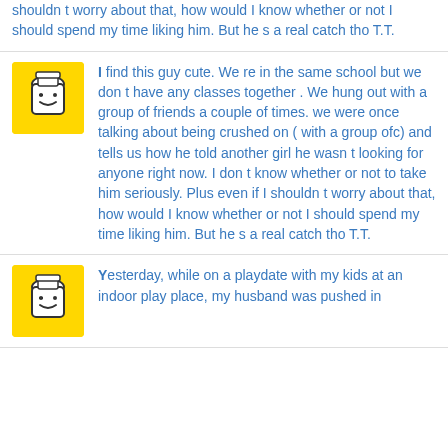shouldn t worry about that, how would I know whether or not I should spend my time liking him. But he s a real catch tho T.T.
I find this guy cute. We re in the same school but we don t have any classes together . We hung out with a group of friends a couple of times. we were once talking about being crushed on ( with a group ofc) and tells us how he told another girl he wasn t looking for anyone right now. I don t know whether or not to take him seriously. Plus even if I shouldn t worry about that, how would I know whether or not I should spend my time liking him. But he s a real catch tho T.T.
Yesterday, while on a playdate with my kids at an indoor play place, my husband was pushed in